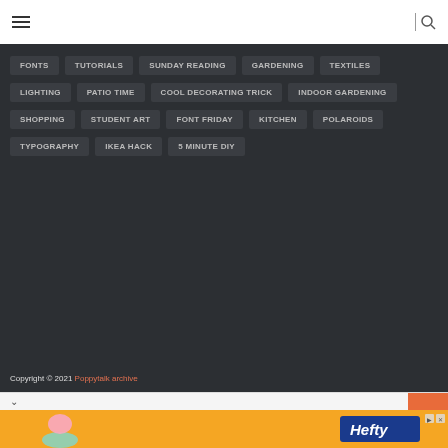☰ | 🔍
FONTS
TUTORIALS
SUNDAY READING
GARDENING
TEXTILES
LIGHTING
PATIO TIME
COOL DECORATING TRICK
INDOOR GARDENING
SHOPPING
STUDENT ART
FONT FRIDAY
KITCHEN
POLAROIDS
TYPOGRAPHY
IKEA HACK
5 MINUTE DIY
Copyright © 2021 Poppytalk archive
[Figure (screenshot): Advertisement banner with Hefty branding on orange background with cartoon characters]